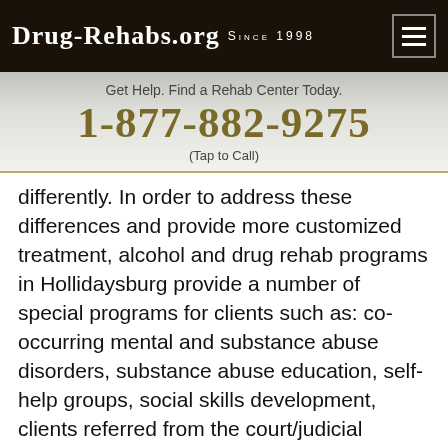Drug-Rehabs.org Since 1998
Get Help. Find a Rehab Center Today.
1-877-882-9275
(Tap to Call)
differently. In order to address these differences and provide more customized treatment, alcohol and drug rehab programs in Hollidaysburg provide a number of special programs for clients such as: co-occurring mental and substance abuse disorders, substance abuse education, self-help groups, social skills development, clients referred from the court/judicial system, legal advocacy.
Clients who feel they may benefit from these special programs ca... treatment facility to r...
Chat now